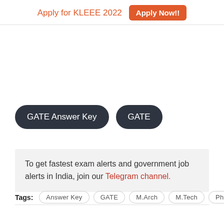Apply for KLEEE 2022   Apply Now!!
[Figure (other): Two dark pill-shaped buttons labeled 'GATE Answer Key' and 'GATE']
To get fastest exam alerts and government job alerts in India, join our Telegram channel.
Tags: Answer Key   GATE   M.Arch   M.Tech   Ph.D